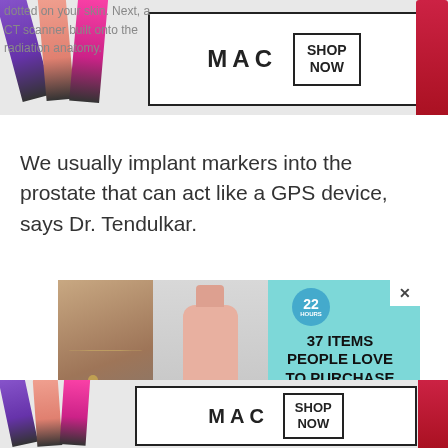[Figure (other): MAC cosmetics advertisement banner with lipsticks and SHOP NOW button (top, partially obscured by article text)]
dotted on your skin. Next, a CT scanner built onto the radiation anatomy.
We usually implant markers into the prostate that can act like a GPS device, says Dr. Tendulkar.
[Figure (other): Advertisement container with Amazon '37 ITEMS PEOPLE LOVE TO PURCHASE ON AMAZON' ad showing a woman with necklace and a pink soap dispenser on teal background, with close button]
[Figure (other): MAC cosmetics advertisement banner with lipsticks and SHOP NOW button (bottom, partially visible)]